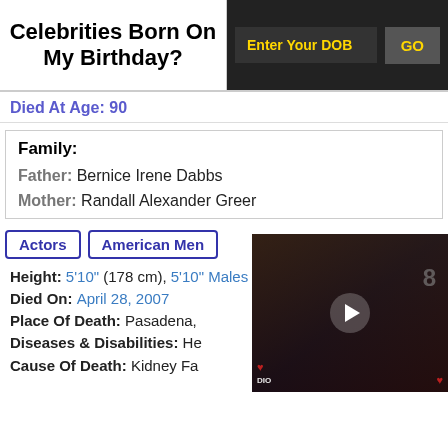Celebrities Born On My Birthday?
Died At Age: 90
| Field | Value |
| --- | --- |
| Family: |  |
| Father: | Bernice Irene Dabbs |
| Mother: | Randall Alexander Greer |
Actors
American Men
Height: 5'10" (178 cm), 5'10" Males
Died On: April 28, 2007
Place Of Death: Pasadena,
Diseases & Disabilities: He...
Cause Of Death: Kidney Fa...
Notable Alumni: Drury Univ...
[Figure (screenshot): Video player overlay showing a person at an event with iHeart radio logos, with a play button in the center and a close button.]